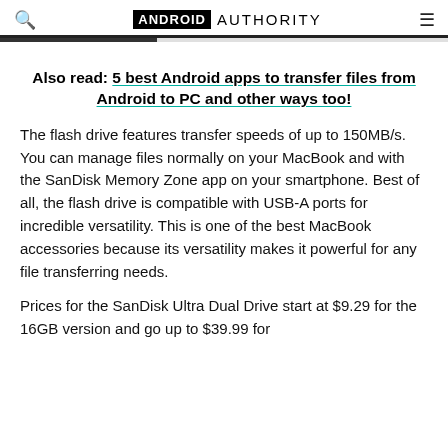ANDROID AUTHORITY
Also read: 5 best Android apps to transfer files from Android to PC and other ways too!
The flash drive features transfer speeds of up to 150MB/s. You can manage files normally on your MacBook and with the SanDisk Memory Zone app on your smartphone. Best of all, the flash drive is compatible with USB-A ports for incredible versatility. This is one of the best MacBook accessories because its versatility makes it powerful for any file transferring needs.
Prices for the SanDisk Ultra Dual Drive start at $9.29 for the 16GB version and go up to $39.99 for